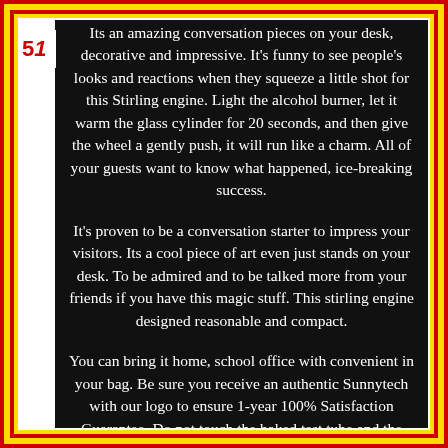Its an amazing conversation pieces on your desk, decorative and impressive. It's funny to see people's looks and reactions when they squeeze a little shot for this Stirling engine. Light the alcohol burner, let it warm the glass cylinder for 20 seconds, and then give the wheel a gently push, it will run like a charm. All of your guests want to know what happened, ice-breaking success.

It's proven to be a conversation starter to impress your visitors. Its a cool piece of art even just stands on your desk. To be admired and to be talked more from your friends if you have this magic stuff. This stirling engine designed reasonable and compact.

You can bring it home, school office with convenient in your bag. Be sure you receive an authentic Sunnytech with our logo to ensure 1-year 100% Satisfaction Guarantee. Do not touch the baked test tube and the metal connected to it, so as not to burn. Suitable for more than 8 years of age, 8 years of age need to operate under the guardianship of parents. Stirling engine is traditionally classified